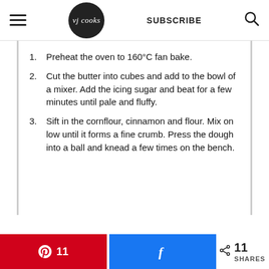VJ cooks | SUBSCRIBE
Preheat the oven to 160°C fan bake.
Cut the butter into cubes and add to the bowl of a mixer. Add the icing sugar and beat for a few minutes until pale and fluffy.
Sift in the cornflour, cinnamon and flour. Mix on low until it forms a fine crumb. Press the dough into a ball and knead a few times on the bench.
11  [Pinterest share]  [Facebook share]  < 11 SHARES